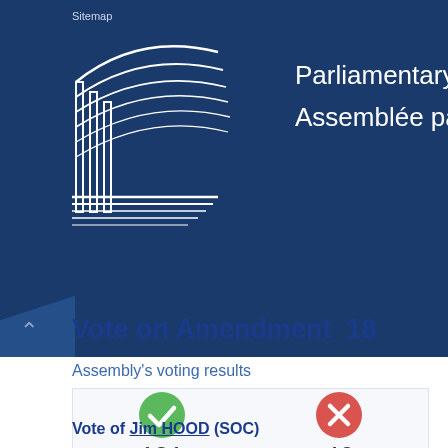Parliamentary Assembly / Assemblée parlementaire
Vote on Amendment 18
Assembly's voting results
[Figure (infographic): Voting result icons: green checkmark circle showing 131 In favour, red X circle showing 46 Against]
Vote of Jim HOOD (SOC)